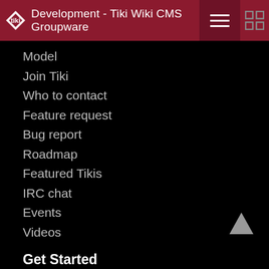Development - Tiki Wiki CMS Groupware
Model
Join Tiki
Who to contact
Feature request
Bug report
Roadmap
Featured Tikis
IRC chat
Events
Videos
Get Started
Download
Install guide
Configure
Documentation
Basics